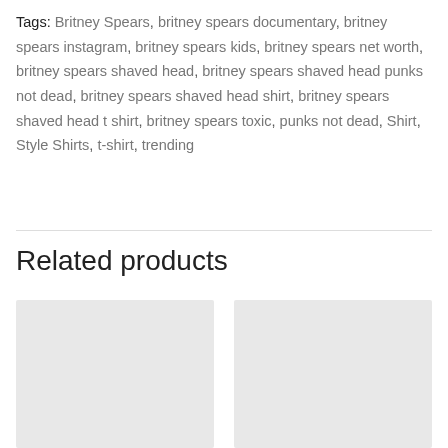Tags: Britney Spears, britney spears documentary, britney spears instagram, britney spears kids, britney spears net worth, britney spears shaved head, britney spears shaved head punks not dead, britney spears shaved head shirt, britney spears shaved head t shirt, britney spears toxic, punks not dead, Shirt, Style Shirts, t-shirt, trending
Related products
[Figure (other): Placeholder product image (light gray rectangle)]
[Figure (other): Placeholder product image (light gray rectangle)]